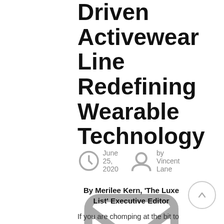Driven Activewear Line Redefining Wearable Technology
June 25, 2020  by Vincent Lane  0 comments
By Merilee Kern, 'The Luxe List' Executive Editor
If you are chomping at the bit to get back to the gym, the track, the court, the field or